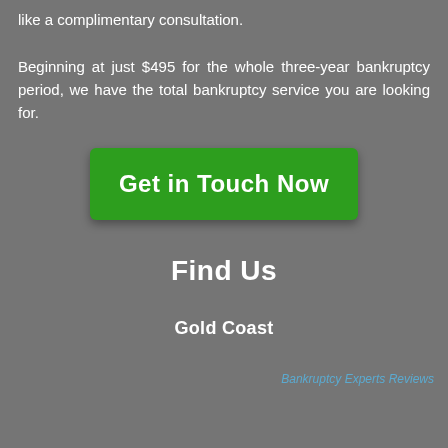like a complimentary consultation.

Beginning at just $495 for the whole three-year bankruptcy period, we have the total bankruptcy service you are looking for.
[Figure (other): Green button labeled 'Get in Touch Now']
Find Us
Gold Coast
Bankruptcy Experts Reviews